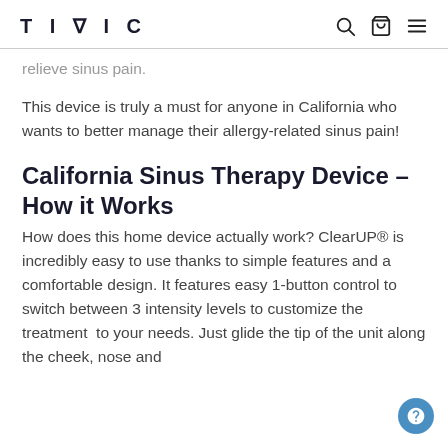TIVIC
relieve sinus pain.
This device is truly a must for anyone in California who wants to better manage their allergy-related sinus pain!
California Sinus Therapy Device – How it Works
How does this home device actually work? ClearUP® is incredibly easy to use thanks to simple features and a comfortable design. It features easy 1-button control to switch between 3 intensity levels to customize the treatment  to your needs. Just glide the tip of the unit along the cheek, nose and